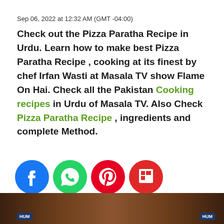Sep 06, 2022 at 12:32 AM (GMT -04:00)
Check out the Pizza Paratha Recipe in Urdu. Learn how to make best Pizza Paratha Recipe , cooking at its finest by chef Irfan Wasti at Masala TV show Flame On Hai. Check all the Pakistan Cooking recipes in Urdu of Masala TV. Also Check Pizza Paratha Recipe , ingredients and complete Method.
[Figure (infographic): Social media share icons: Facebook (blue circle with f), WhatsApp (green circle with phone), Pinterest (red circle with P), Flipboard (red circle with f)]
[Figure (photo): Bottom image strip showing HUM TV logo on left and right, with a food/pizza paratha image in background]